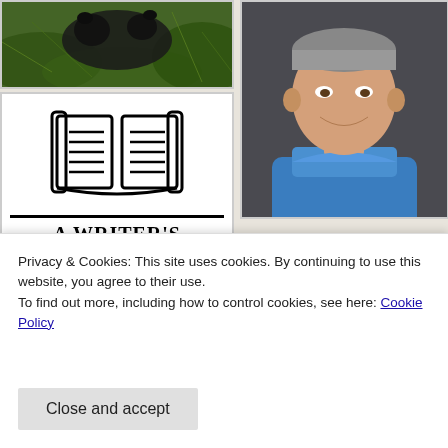[Figure (photo): Photo of an animal (appears to be a dark-colored animal among green foliage)]
[Figure (photo): Headshot of a smiling man wearing a blue polo shirt against a dark background]
[Figure (logo): A Writer's Path logo with open book icon and bold serif text reading 'A WRITER'S PATH']
[Figure (screenshot): Story section header with decorative text 'Story' in serif font]
[Figure (photo): Colorful abstract swirling paint art photo in vibrant greens, yellows, pinks, blues]
Privacy & Cookies: This site uses cookies. By continuing to use this website, you agree to their use.
To find out more, including how to control cookies, see here: Cookie Policy
Close and accept